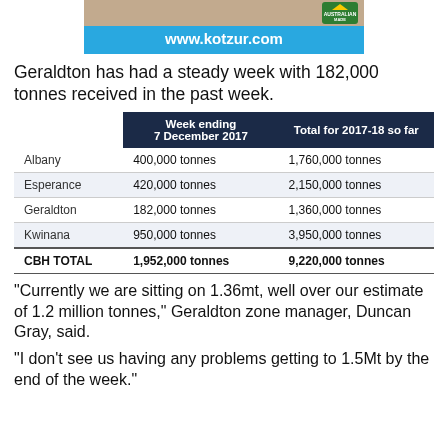[Figure (other): Advertisement banner for kotzur.com with blue background showing 'www.kotzur.com' in white text and Australian Made logo]
Geraldton has had a steady week with 182,000 tonnes received in the past week.
|  | Week ending 7 December 2017 | Total for 2017-18 so far |
| --- | --- | --- |
| Albany | 400,000 tonnes | 1,760,000 tonnes |
| Esperance | 420,000 tonnes | 2,150,000 tonnes |
| Geraldton | 182,000 tonnes | 1,360,000 tonnes |
| Kwinana | 950,000 tonnes | 3,950,000 tonnes |
| CBH TOTAL | 1,952,000 tonnes | 9,220,000 tonnes |
“Currently we are sitting on 1.36mt, well over our estimate of 1.2 million tonnes,” Geraldton zone manager, Duncan Gray, said.
“I don’t see us having any problems getting to 1.5Mt by the end of the week.”